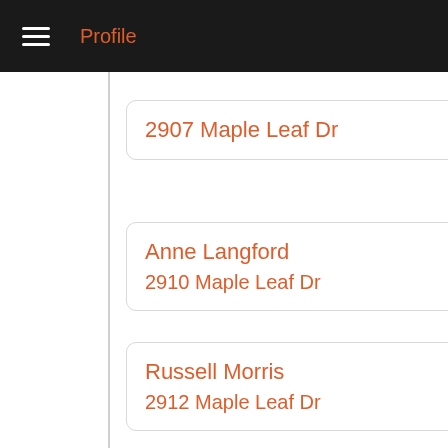Profile
2907 Maple Leaf Dr
Anne Langford
2910 Maple Leaf Dr
Russell Morris
2912 Maple Leaf Dr
Family
Vew Full Report to see available family members of Rick